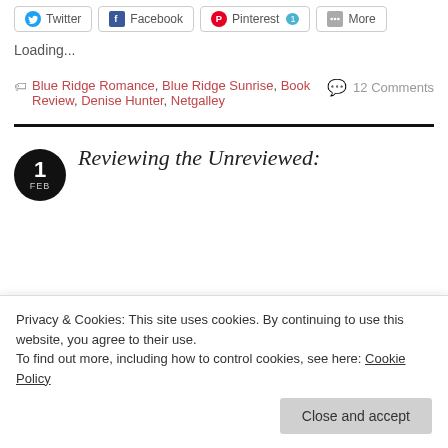Twitter  Facebook  Pinterest 1  More
Loading...
Blue Ridge Romance, Blue Ridge Sunrise, Book Review, Denise Hunter, Netgalley   💬 12 Comments
Reviewing the Unreviewed:
Privacy & Cookies: This site uses cookies. By continuing to use this website, you agree to their use.
To find out more, including how to control cookies, see here: Cookie Policy